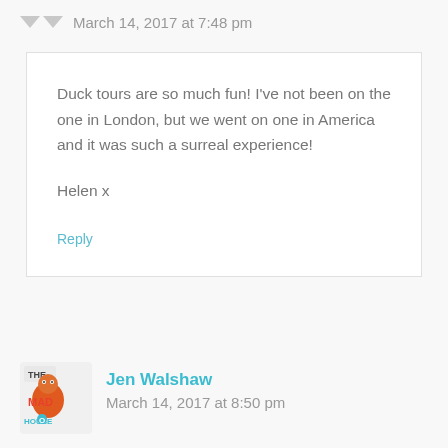March 14, 2017 at 7:48 pm
Duck tours are so much fun! I've not been on the one in London, but we went on one in America and it was such a surreal experience!

Helen x
Reply
Jen Walshaw
March 14, 2017 at 8:50 pm